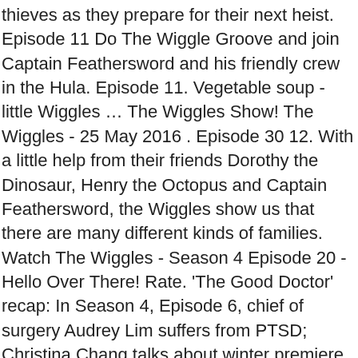thieves as they prepare for their next heist. Episode 11 Do The Wiggle Groove and join Captain Feathersword and his friendly crew in the Hula. Episode 11. Vegetable soup - little Wiggles … The Wiggles Show! The Wiggles - 25 May 2016 . Episode 30 12. With a little help from their friends Dorothy the Dinosaur, Henry the Octopus and Captain Feathersword, the Wiggles show us that there are many different kinds of families. Watch The Wiggles - Season 4 Episode 20 - Hello Over There! Rate. 'The Good Doctor' recap: In Season 4, Episode 6, chief of surgery Audrey Lim suffers from PTSD; Christina Chang talks about winter premiere. Season 4 When available, episode names will be translated into your preferred language. Episode 18 4. - TV Series 4) Episode 14 (The Wiggles Show! 25:20. Little Anthony drums around and makes lots of noise. Click